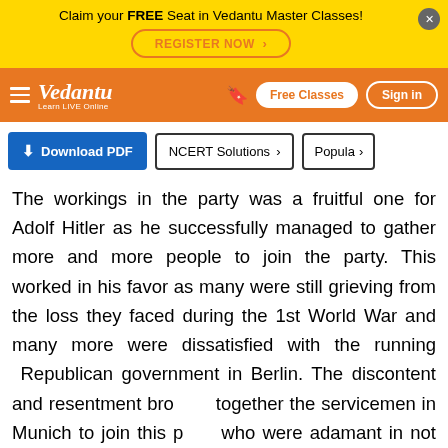Claim your FREE Seat in Vedantu Master Classes! REGISTER NOW
Vedantu - Learn LIVE Online | Free Classes | Sign in
[Figure (screenshot): Vedantu website navigation bar with logo, bookmark icon, Free Classes button, and Sign in button on orange background]
Download PDF | NCERT Solutions | Popular
The workings in the party was a fruitful one for Adolf Hitler as he successfully managed to gather more and more people to join the party. This worked in his favor as many were still grieving from the loss they faced during the 1st World War and many more were dissatisfied with the running Republican government in Berlin. The discontent and resentment brought together the servicemen in Munich to join this party who were adamant in not returning to the civilian life. Hitler took advantage of this situation and was skilled enough to gather many more army generals to join the party. And then for many Hitler's actions also stood for...